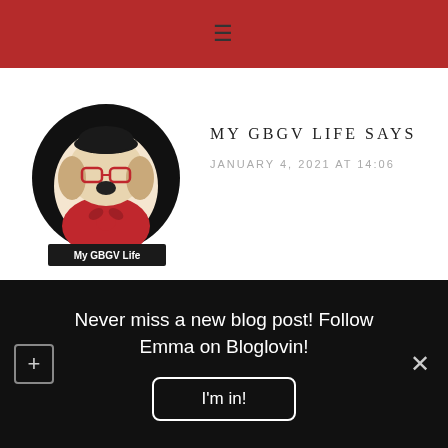≡
[Figure (logo): My GBGV Life cartoon dog logo — a round black circle with a cartoon beagle wearing a beret and red outfit, with 'My GBGV Life' text banner below]
MY GBGV LIFE SAYS
JANUARY 4, 2021 AT 14:06
We did lots of walking on New Years Day, and we loved it.
Never miss a new blog post! Follow Emma on Bloglovin!
I'm in!